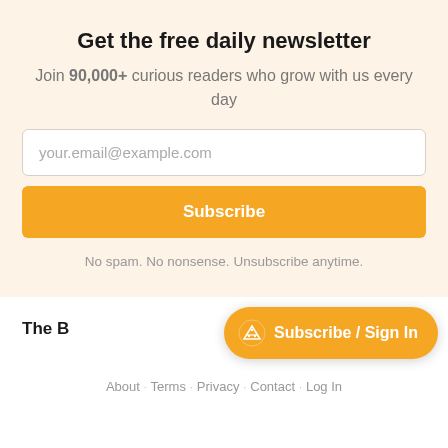Get the free daily newsletter
Join 90,000+ curious readers who grow with us every day
your.email@example.com
Subscribe
No spam. No nonsense. Unsubscribe anytime.
The B
Subscribe / Sign In
About · Terms · Privacy · Contact · Log In